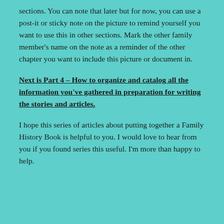sections. You can note that later but for now, you can use a post-it or sticky note on the picture to remind yourself you want to use this in other sections. Mark the other family member's name on the note as a reminder of the other chapter you want to include this picture or document in.
Next is Part 4 – How to organize and catalog all the information you've gathered in preparation for writing the stories and articles.
I hope this series of articles about putting together a Family History Book is helpful to you. I would love to hear from you if you found series this useful. I'm more than happy to help.